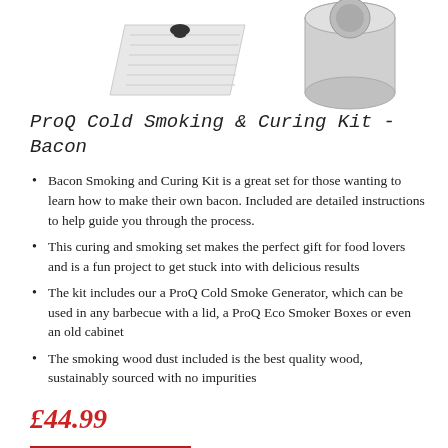[Figure (photo): Product photo of ProQ Cold Smoking & Curing Kit - Bacon, showing packaging/box and components on white background]
ProQ Cold Smoking & Curing Kit - Bacon
Bacon Smoking and Curing Kit is a great set for those wanting to learn how to make their own bacon. Included are detailed instructions to help guide you through the process.
This curing and smoking set makes the perfect gift for food lovers and is a fun project to get stuck into with delicious results
The kit includes our a ProQ Cold Smoke Generator, which can be used in any barbecue with a lid, a ProQ Eco Smoker Boxes or even an old cabinet
The smoking wood dust included is the best quality wood, sustainably sourced with no impurities
£44.99
Add to cart